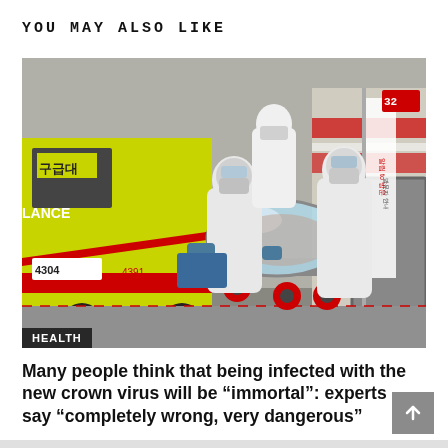YOU MAY ALSO LIKE
[Figure (photo): Medical workers in full white PPE hazmat suits and masks wheeling a sealed patient transport pod on a gurney outside a hospital. A yellow ambulance marked with Korean characters (구급대, LANCE, 4304) is visible on the left. Red and white caution tape is in the background. A 'HEALTH' label appears in the bottom-left corner of the image.]
Many people think that being infected with the new crown virus will be “immortal”: experts say “completely wrong, very dangerous”